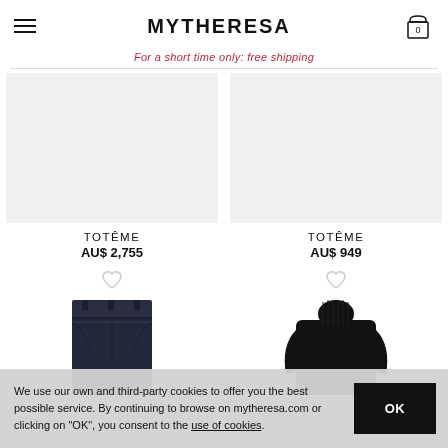MYTHERESA
For a short time only: free shipping
TOTÊME
AU$ 2,755
TOTÊME
AU$ 949
[Figure (photo): Dark navy/black denim jeans, cropped view showing waistband and upper portion]
[Figure (photo): Black turtleneck sweater, torso and arms visible]
We use our own and third-party cookies to offer you the best possible service. By continuing to browse on mytheresa.com or clicking on "OK", you consent to the use of cookies.